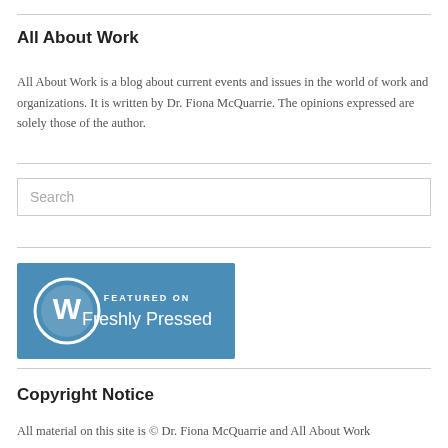All About Work
All About Work is a blog about current events and issues in the world of work and organizations. It is written by Dr. Fiona McQuarrie. The opinions expressed are solely those of the author.
[Figure (other): Search input box with placeholder text 'Search']
[Figure (logo): WordPress 'Featured on Freshly Pressed' badge — blue rectangle with WordPress circle logo on left and text 'FEATURED ON Freshly Pressed' on right in white]
Copyright Notice
All material on this site is © Dr. Fiona McQuarrie and All About Work